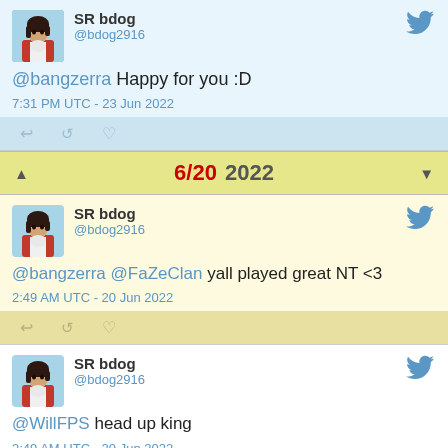[Figure (screenshot): Twitter/social media feed screenshot showing tweets from SR bdog (@bdog2916) and a date divider]
SR bdog @bdog2916 @bangzerra Happy for you :D 7:31 PM UTC - 23 Jun 2022
6/20 2022
SR bdog @bdog2916 @bangzerra @FaZeClan yall played great NT <3 2:49 AM UTC - 20 Jun 2022
SR bdog @bdog2916 @WillFPS head up king 2:49 AM UTC - 20 Jun 2022